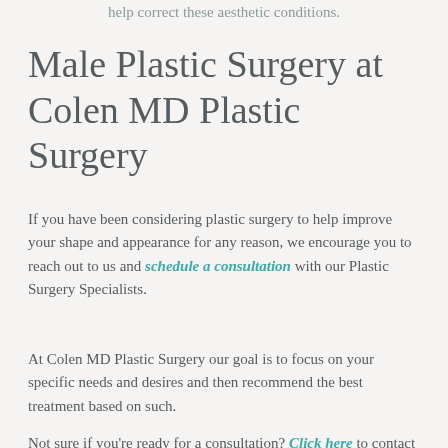help correct these aesthetic conditions.
Male Plastic Surgery at Colen MD Plastic Surgery
If you have been considering plastic surgery to help improve your shape and appearance for any reason, we encourage you to reach out to us and schedule a consultation with our Plastic Surgery Specialists.
At Colen MD Plastic Surgery our goal is to focus on your specific needs and desires and then recommend the best treatment based on such.
Not sure if you’re ready for a consultation? Click here to contact Colen MD Plastic Surgery and set